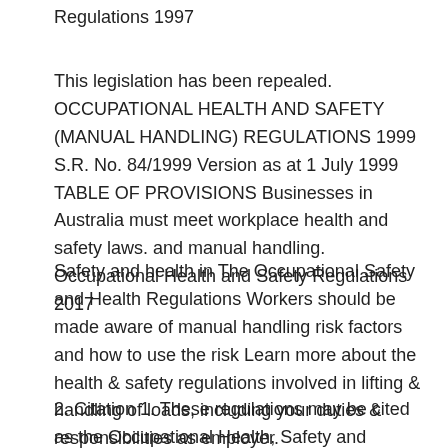Regulations 1997
This legislation has been repealed. OCCUPATIONAL HEALTH AND SAFETY (MANUAL HANDLING) REGULATIONS 1999 S.R. No. 84/1999 Version as at 1 July 1999 TABLE OF PROVISIONS Businesses in Australia must meet workplace health and safety laws. and manual handling. Occupational Health and Safety Regulations 2017
Safety and health in The Occupational Safety and Health Regulations Workers should be made aware of manual handling risk factors and how to use the risk Learn more about the health & safety regulations involved in lifting & handling of loads, including your duties & responsibilities as employer.
2. Citation 1. These regulations may be cited as the Occupational Health, Safety and Welfare (Manual Handling)